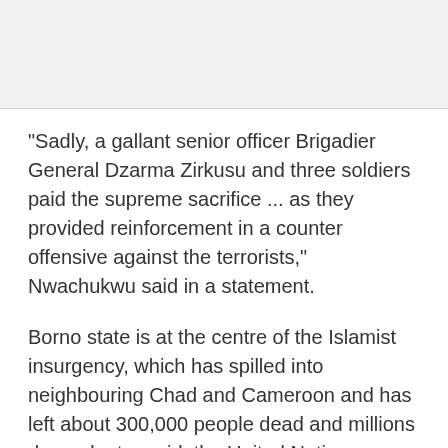"Sadly, a gallant senior officer Brigadier General Dzarma Zirkusu and three soldiers paid the supreme sacrifice ... as they provided reinforcement in a counter offensive against the terrorists," Nwachukwu said in a statement.
Borno state is at the centre of the Islamist insurgency, which has spilled into neighbouring Chad and Cameroon and has left about 300,000 people dead and millions dependent on aid, the United Nations says.